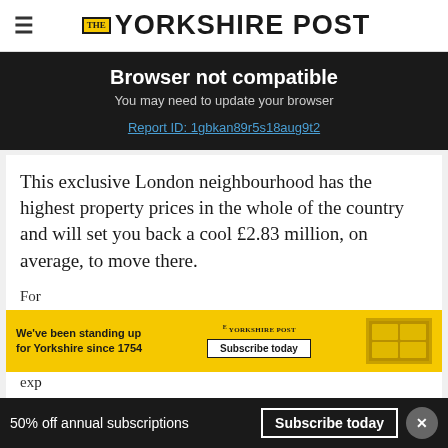THE YORKSHIRE POST
Browser not compatible
You may need to update your browser
Report ID: 1gbkan89r5s18aug9t2
This exclusive London neighbourhood has the highest property prices in the whole of the country and will set you back a cool £2.83 million, on average, to move there.
[Figure (other): Yorkshire Post subscription advertisement banner with yellow background]
For... exp...
50% off annual subscriptions  Subscribe today